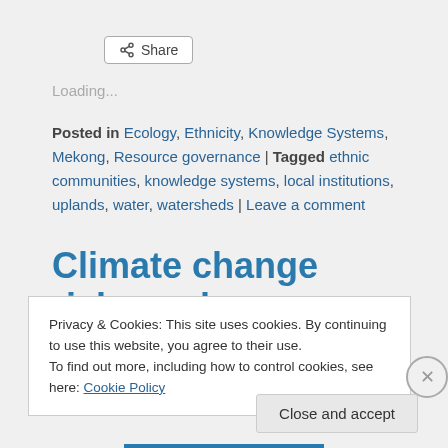[Figure (other): Share button with share icon]
Loading...
Posted in Ecology, Ethnicity, Knowledge Systems, Mekong, Resource governance | Tagged ethnic communities, knowledge systems, local institutions, uplands, water, watersheds | Leave a comment
Climate change risks and
Privacy & Cookies: This site uses cookies. By continuing to use this website, you agree to their use.
To find out more, including how to control cookies, see here: Cookie Policy
Close and accept